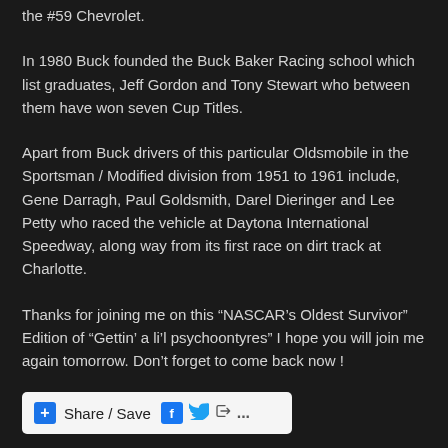the #59 Chevrolet.
In 1980 Buck founded the Buck Baker Racing school which list graduates, Jeff Gordon and Tony Stewart who between them have won seven Cup Titles.
Apart from Buck drivers of this particular Oldsmobile in the Sportsman / Modified division from 1951 to 1961 include, Gene Darragh, Paul Goldsmith, Darel Dieringer and Lee Petty who raced the vehicle at Daytona International Speedway, along way from its first race on dirt track at Charlotte.
Thanks for joining me on this “NASCAR’s Oldest Survivor” Edition of “Gettin’ a li’l psychoontyres” I hope you will join me again tomorrow. Don’t forget to come back now !